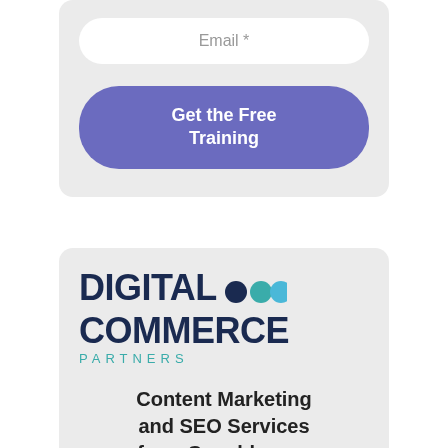Email *
Get the Free Training
[Figure (logo): Digital Commerce Partners logo with three colored dots and PARTNERS text in teal]
Content Marketing and SEO Services from Copyblogger